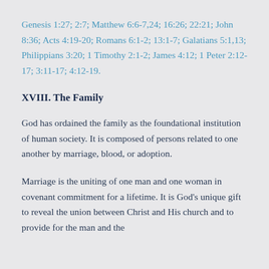Genesis 1:27; 2:7; Matthew 6:6-7,24; 16:26; 22:21; John 8:36; Acts 4:19-20; Romans 6:1-2; 13:1-7; Galatians 5:1,13; Philippians 3:20; 1 Timothy 2:1-2; James 4:12; 1 Peter 2:12-17; 3:11-17; 4:12-19.
XVIII. The Family
God has ordained the family as the foundational institution of human society. It is composed of persons related to one another by marriage, blood, or adoption.
Marriage is the uniting of one man and one woman in covenant commitment for a lifetime. It is God's unique gift to reveal the union between Christ and His church and to provide for the man and the